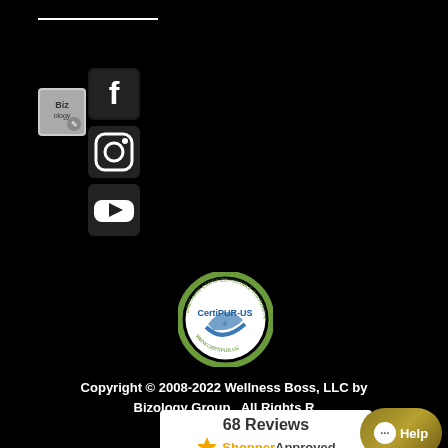[Figure (logo): Horizontal line divider at top]
[Figure (logo): Blog icon (Bizology)]
[Figure (logo): Facebook icon (white F on dark background)]
[Figure (logo): Instagram icon (camera outline on dark background)]
[Figure (logo): YouTube play button icon]
[Figure (logo): CertiPUR-US certified flexible polyurethane foam circular badge/seal]
Copyright © 2008-2022 Wellness Boss, LLC by Bizology Group.  All Rights R
[Figure (infographic): Shopper Approved widget showing 68 Reviews]
[Figure (infographic): Help chat button (dark gold/olive pill-shaped button with chat bubble and Help text)]